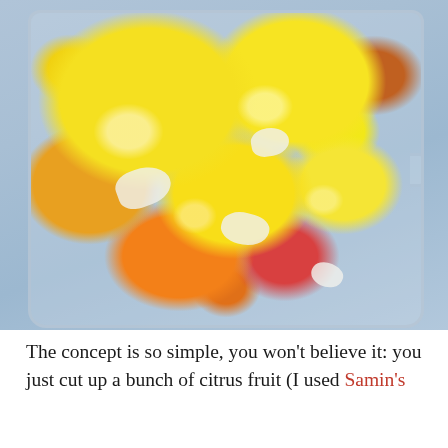[Figure (photo): A clear glass blender filled with cut citrus fruit pieces — lemons, oranges, and blood oranges — placed on a light blue-grey surface. The fruit pieces show yellow rinds, white pith, and orange/red flesh.]
The concept is so simple, you won't believe it: you just cut up a bunch of citrus fruit (I used Samin's